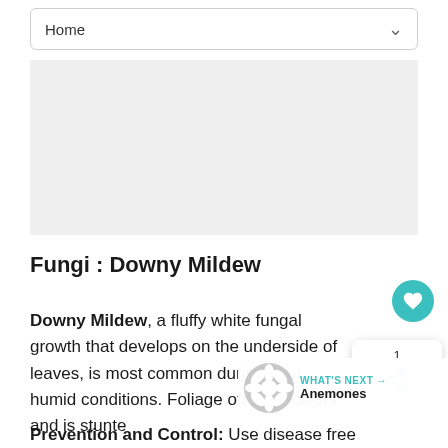Home
[Figure (other): Gray advertisement or image placeholder block]
Fungi : Downy Mildew
Downy Mildew, a fluffy white fungal growth that develops on the underside of leaves, is most common during cool, humid conditions. Foliage often discolors and is stunte…
Prevention and Control: Use disease free…